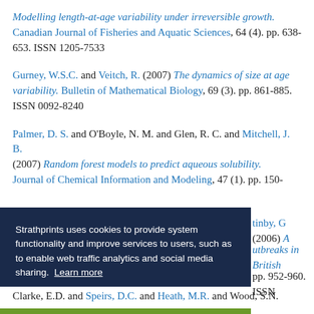Modelling length-at-age variability under irreversible growth. Canadian Journal of Fisheries and Aquatic Sciences, 64 (4). pp. 638-653. ISSN 1205-7533
Gurney, W.S.C. and Veitch, R. (2007) The dynamics of size at age variability. Bulletin of Mathematical Biology, 69 (3). pp. 861-885. ISSN 0092-8240
Palmer, D. S. and O'Boyle, N. M. and Glen, R. C. and Mitchell, J. B. (2007) Random forest models to predict aqueous solubility. Journal of Chemical Information and Modeling, 47 (1). pp. 150-
Strathprints uses cookies to provide system functionality and improve services to users, such as to enable web traffic analytics and social media sharing. Learn more
...tinby, G (2006) A ...utbreaks in British ... pp. 952-960. ISSN
Clarke, E.D. and Speirs, D.C. and Heath, M.R. and Wood, S.N.